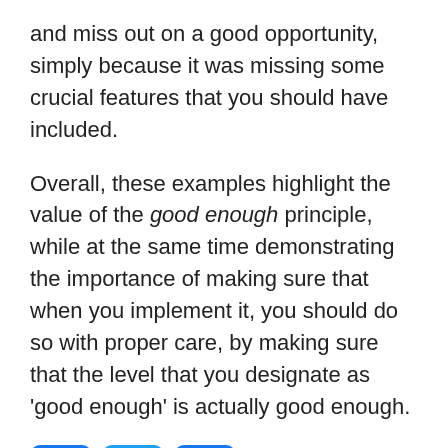and miss out on a good opportunity, simply because it was missing some crucial features that you should have included.
Overall, these examples highlight the value of the good enough principle, while at the same time demonstrating the importance of making sure that when you implement it, you should do so with proper care, by making sure that the level that you designate as 'good enough' is actually good enough.
[Figure (other): Three social media icon buttons: Facebook (f), Twitter (bird), and a share/plus (+) button, all in blue rounded squares.]